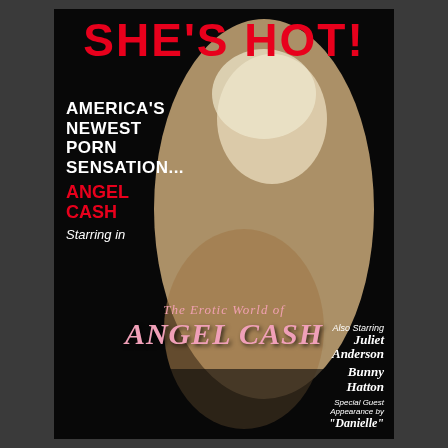SHE'S HOT!
AMERICA'S NEWEST PORN SENSATION... ANGEL CASH Starring in
[Figure (photo): Movie poster featuring a blonde woman posing on a black background]
The Erotic World of ANGEL CASH
Also Starring Juliet Anderson Bunny Hatton Special Guest Appearance by "Danielle"